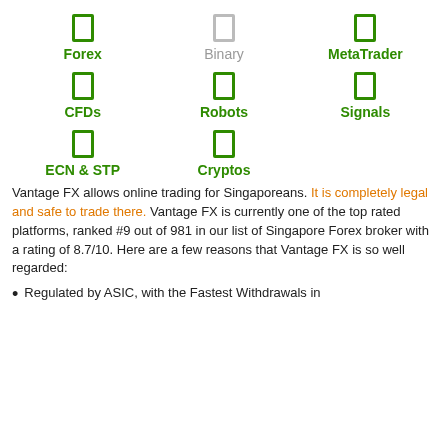[Figure (infographic): 3x3 grid of trading icons with labels: Forex (green icon), Binary (gray icon), MetaTrader (green icon), CFDs (green icon), Robots (green icon), Signals (green icon), ECN & STP (green icon), Cryptos (green icon)]
Vantage FX allows online trading for Singaporeans. It is completely legal and safe to trade there. Vantage FX is currently one of the top rated platforms, ranked #9 out of 981 in our list of Singapore Forex broker with a rating of 8.7/10. Here are a few reasons that Vantage FX is so well regarded:
Regulated by ASIC, with the Fastest Withdrawals in